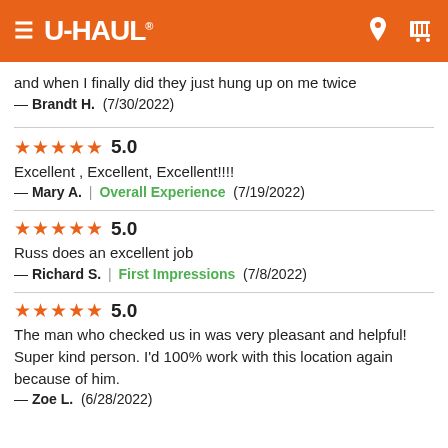U-HAUL
and when I finally did they just hung up on me twice
— Brandt H. (7/30/2022)
★★★★★ 5.0
Excellent , Excellent, Excellent!!!!
— Mary A. | Overall Experience (7/19/2022)
★★★★★ 5.0
Russ does an excellent job
— Richard S. | First Impressions (7/8/2022)
★★★★★ 5.0
The man who checked us in was very pleasant and helpful! Super kind person. I'd 100% work with this location again because of him.
— Zoe L. (6/28/2022)